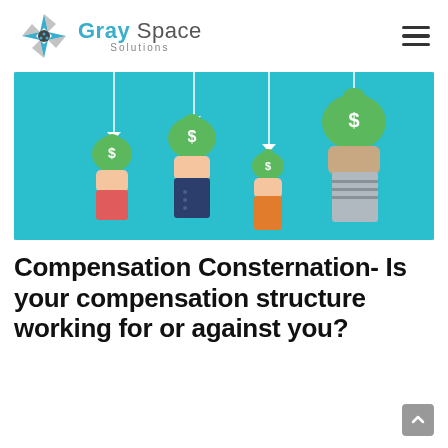Gray Space Solutions
[Figure (illustration): Four hands holding money bags with dollar signs, hanging from strings on a teal/turquoise background. Hands are dressed in red, dark blue/navy, orange, and gray sleeves. Money bags are green with white dollar signs.]
Compensation Consternation- Is your compensation structure working for or against you?